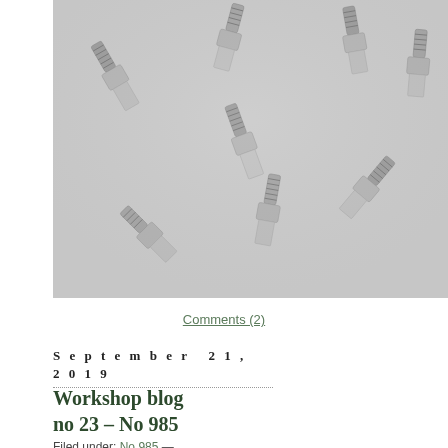[Figure (photo): A pile of small metallic hex bolts/screws with threaded shanks arranged on a light grey textured cloth surface]
Comments (2)
September 21, 2019
Workshop blog no 23 – No 985
Filed under: No 985 —